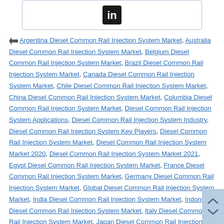[Figure (logo): LinkedIn icon/logo inside a bordered box]
Argentina Diesel Common Rail Injection System Market, Australia Diesel Common Rail Injection System Market, Belgium Diesel Common Rail Injection System Market, Brazil Diesel Common Rail Injection System Market, Canada Diesel Common Rail Injection System Market, Chile Diesel Common Rail Injection System Market, China Diesel Common Rail Injection System Market, Columbia Diesel Common Rail Injection System Market, Diesel Common Rail Injection System Applications, Diesel Common Rail Injection System Industry, Diesel Common Rail Injection System Key Players, Diesel Common Rail Injection System Market, Diesel Common Rail Injection System Market 2020, Diesel Common Rail Injection System Market 2021, Egypt Diesel Common Rail Injection System Market, France Diesel Common Rail Injection System Market, Germany Diesel Common Rail Injection System Market, Global Diesel Common Rail Injection System Market, India Diesel Common Rail Injection System Market, Indonesia Diesel Common Rail Injection System Market, Italy Diesel Common Rail Injection System Market, Japan Diesel Common Rail Injection System Market, Malaysia Diesel Common Rail Injection System Market, Mexico Diesel Common Rail Injection System Market, Netherlands Diesel Common Rail Injection System Market, Nigeria Diesel Common